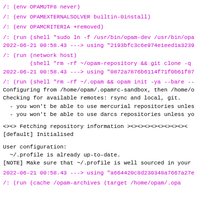/: (env OPAMUTF8 never)
/: (env OPAMEXTERNALSOLVER builtin-0install)
/: (env OPAMCRITERIA +removed)
/: (run (shell "sudo ln -f /usr/bin/opam-dev /usr/bin/opa
2022-06-21 00:58.43 ---> using "2193bfc3c6e974e1eed1a3239
/: (run (network host)
        (shell "rm -rf ~/opam-repository && git clone -q
2022-06-21 00:58.43 ---> using "0872a7876b6114f71f0b61f87
/: (run (shell "rm -rf ~/.opam && opam init -ya --bare --
Configuring from /home/opam/.opamrc-sandbox, then /home/o
Checking for available remotes: rsync and local, git.
  - you won't be able to use mercurial repositories unles
  - you won't be able to use darcs repositories unless yo
<><> Fetching repository information ><><><><><><><><><
[default] Initialised
User configuration:
  ~/.profile is already up-to-date.
[NOTE] Make sure that ~/.profile is well sourced in your
2022-06-21 00:58.43 ---> using "a664420c8d230348a7667a27e
/: (run (cache /opam-archives (target /home/opam/.opa